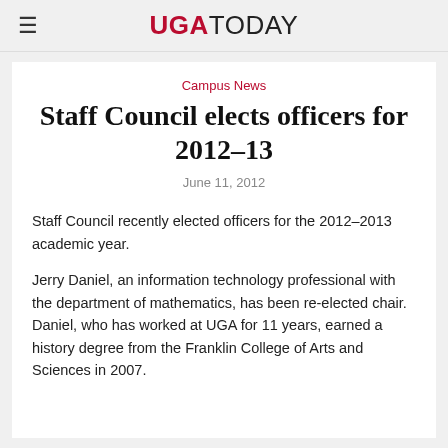UGA TODAY
Campus News
Staff Council elects officers for 2012-13
June 11, 2012
Staff Council recently elected officers for the 2012–2013 academic year.
Jerry Daniel, an information technology professional with the department of mathematics, has been re-elected chair. Daniel, who has worked at UGA for 11 years, earned a history degree from the Franklin College of Arts and Sciences in 2007.